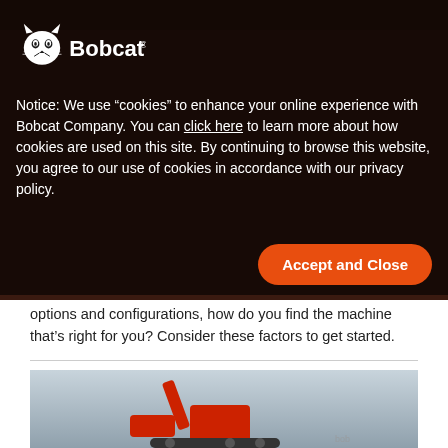[Figure (logo): Bobcat company logo — white lynx/bobcat mascot face with fangs, next to white text 'Bobcat.' on dark background]
Notice: We use “cookies” to enhance your online experience with Bobcat Company. You can click here to learn more about how cookies are used on this site. By continuing to browse this website, you agree to our use of cookies in accordance with our privacy policy.
Accept and Close
options and configurations, how do you find the machine that’s right for you? Consider these factors to get started.
[Figure (photo): Bobcat compact track loader or skid steer machine photographed against a cloudy sky, partial view from below]